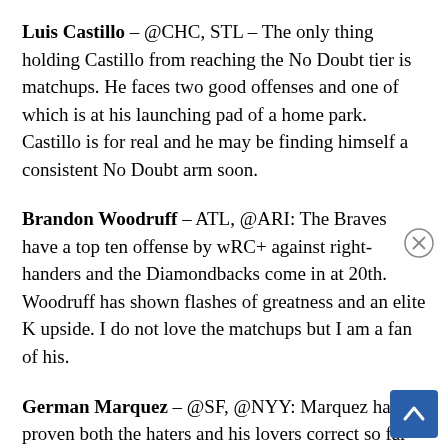Luis Castillo – @CHC, STL – The only thing holding Castillo from reaching the No Doubt tier is matchups. He faces two good offenses and one of which is at his launching pad of a home park. Castillo is for real and he may be finding himself a consistent No Doubt arm soon.
Brandon Woodruff – ATL, @ARI: The Braves have a top ten offense by wRC+ against right-handers and the Diamondbacks come in at 20th. Woodruff has shown flashes of greatness and an elite K upside. I do not love the matchups but I am a fan of his.
German Marquez – @SF, @NYY: Marquez has proven both the haters and his lovers correct so far in 2019. At home he's been unable to conquer Coors but on th… road he's been a high-end starter. His matchings…